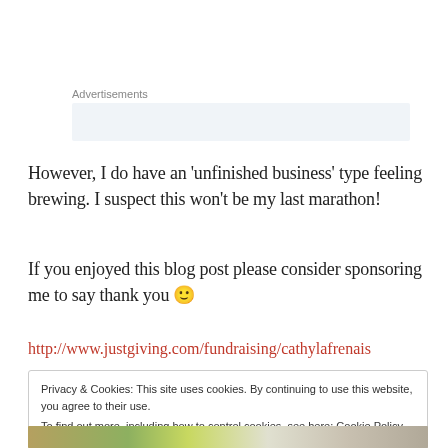Advertisements
However, I do have an ‘unfinished business’ type feeling brewing. I suspect this won’t be my last marathon!
If you enjoyed this blog post please consider sponsoring me to say thank you 🙂
http://www.justgiving.com/fundraising/cathylafrenais
Privacy & Cookies: This site uses cookies. By continuing to use this website, you agree to their use.
To find out more, including how to control cookies, see here: Cookie Policy
Close and accept
[Figure (photo): Bottom strip photo of colorful items including running gear and stones]